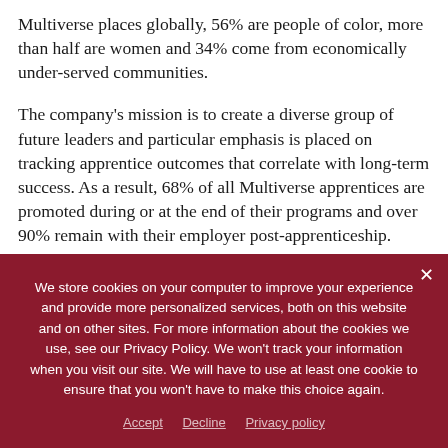Multiverse places globally, 56% are people of color, more than half are women and 34% come from economically under-served communities.
The company's mission is to create a diverse group of future leaders and particular emphasis is placed on tracking apprentice outcomes that correlate with long-term success. As a result, 68% of all Multiverse apprentices are promoted during or at the end of their programs and over 90% remain with their employer post-apprenticeship.
HR Technology News: Broadleaf Results Announces Promotion Of
We store cookies on your computer to improve your experience and provide more personalized services, both on this website and on other sites. For more information about the cookies we use, see our Privacy Policy. We won't track your information when you visit our site. We will have to use at least one cookie to ensure that you won't have to make this choice again.
Accept   Decline   Privacy policy